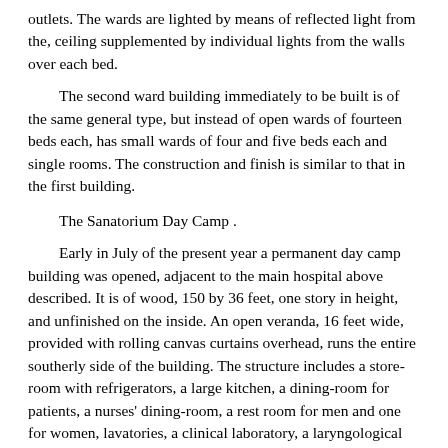outlets. The wards are lighted by means of reflected light from the, ceiling supplemented by individual lights from the walls over each bed.
The second ward building immediately to be built is of the same general type, but instead of open wards of fourteen beds each, has small wards of four and five beds each and single rooms. The construction and finish is similar to that in the first building.
The Sanatorium Day Camp .
Early in July of the present year a permanent day camp building was opened, adjacent to the main hospital above described. It is of wood, 150 by 36 feet, one story in height, and unfinished on the inside. An open veranda, 16 feet wide, provided with rolling canvas curtains overhead, runs the entire southerly side of the building. The structure includes a store-room with refrigerators, a large kitchen, a dining-room for patients, a nurses' dining-room, a rest room for men and one for women, lavatories, a clinical laboratory, a laryngological room, a linen room, a nurses' office, an office for the resident physicians and a large examining room. The present arrangements provides 180 places in the dining-room, but 250 can be made. Heat and light are furnished from the central power station.
The camp is situated on the slope of the rising ground and is